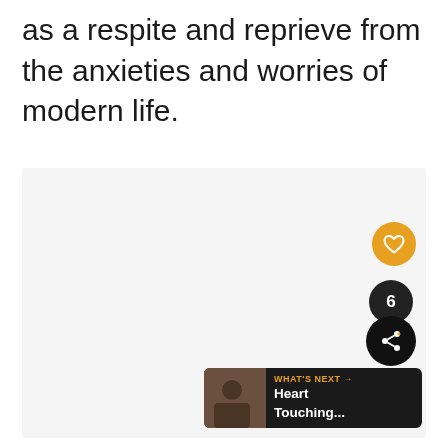as a respite and reprieve from the anxieties and worries of modern life.
[Figure (screenshot): Light gray content area placeholder with UI overlay elements: an orange heart/like button, a dark share button showing count 6, and a 'What's Next' banner showing 'Heart Touching...' with a thumbnail.]